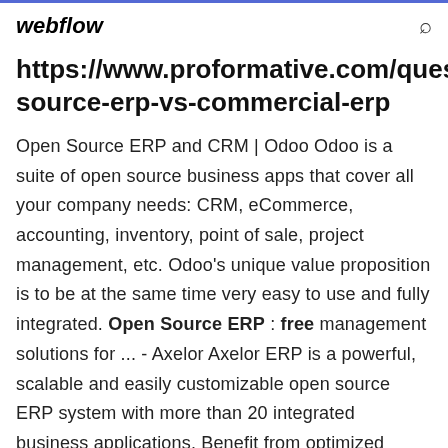webflow
https://www.proformative.com/questi source-erp-vs-commercial-erp
Open Source ERP and CRM | Odoo Odoo is a suite of open source business apps that cover all your company needs: CRM, eCommerce, accounting, inventory, point of sale, project management, etc. Odoo's unique value proposition is to be at the same time very easy to use and fully integrated. Open Source ERP : free management solutions for ... - Axelor Axelor ERP is a powerful, scalable and easily customizable open source ERP system with more than 20 integrated business applications. Benefit from optimized ergonomics for a better